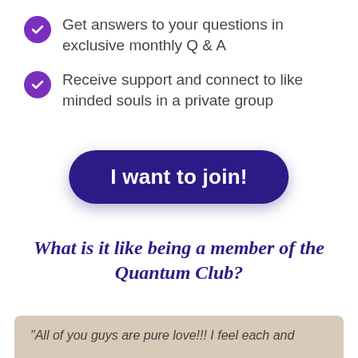Get answers to your questions in exclusive monthly Q & A
Receive support and connect to like minded souls in a private group
I want to join!
What is it like being a member of the Quantum Club?
"All of you guys are pure love!!! I feel each and